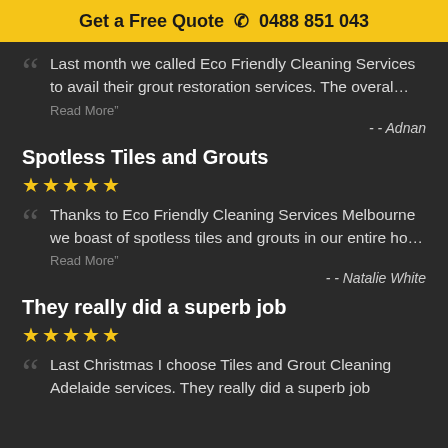Get a Free Quote ☎ 0488 851 043
Last month we called Eco Friendly Cleaning Services to avail their grout restoration services. The overal…
Read More"
- - Adnan
Spotless Tiles and Grouts
★★★★★
Thanks to Eco Friendly Cleaning Services Melbourne we boast of spotless tiles and grouts in our entire ho…
Read More"
- - Natalie White
They really did a superb job
★★★★★
Last Christmas I choose Tiles and Grout Cleaning Adelaide services. They really did a superb job